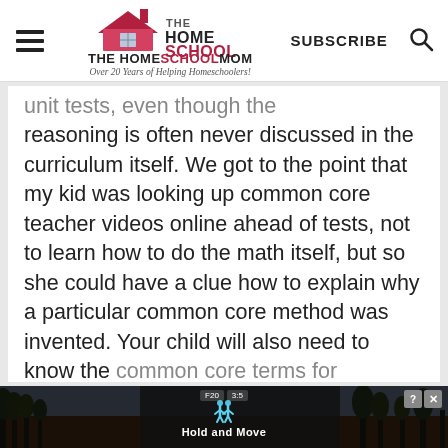THE HOMESCHOOL MOM — Over 20 Years of Helping Homeschoolers! | SUBSCRIBE | [search]
unit tests, even though the reasoning is often never discussed in the curriculum itself. We got to the point that my kid was looking up common core teacher videos online ahead of tests, not to learn how to do the math itself, but so she could have a clue how to explain why a particular common core method was invented. Your child will also need to know the common core terms for strategies
[Figure (photo): Advertisement banner at the bottom: dark background with trees photo, blue person icon, text 'Hold and Move', timer showing F20 and 3:5, and close/help buttons]